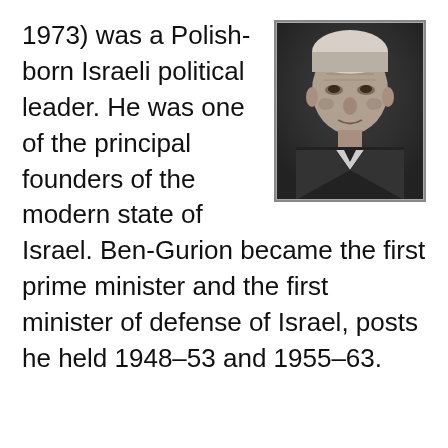[Figure (photo): Black and white portrait photograph of an elderly man with white hair, facing the camera with a serious expression.]
1973) was a Polish-born Israeli political leader. He was one of the principal founders of the modern state of Israel. Ben-Gurion became the first prime minister and the first minister of defense of Israel, posts he held 1948–53 and 1955–63.